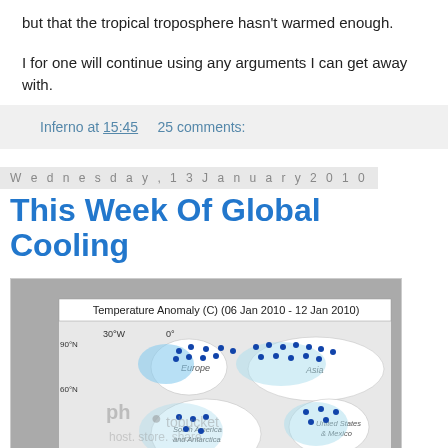but that the tropical troposphere hasn't warmed enough.
I for one will continue using any arguments I can get away with.
Inferno at 15:45    25 comments:
Wednesday, 13 January 2010
This Week Of Global Cooling
[Figure (map): Temperature Anomaly (C) (06 Jan 2010 - 12 Jan 2010) world map showing blue dots and shading indicating cold temperature anomalies across Europe, Asia, North America, South America, Antarctica, and Australia/New Zealand regions.]